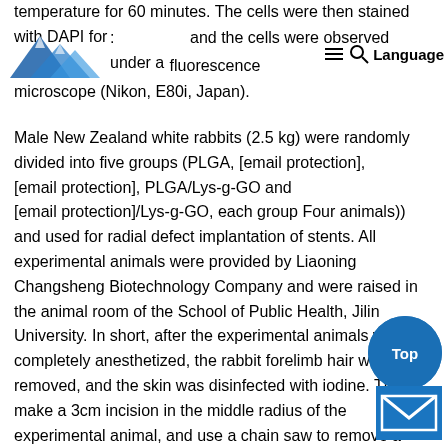temperature for 60 minutes. The cells were then stained with DAPI for : and the cells were observed under a fluorescence microscope (Nikon, E80i, Japan).
Male New Zealand white rabbits (2.5 kg) were randomly divided into five groups (PLGA, [email protection], [email protection], PLGA/Lys-g-GO and [email protection]/Lys-g-GO, each group Four animals)) and used for radial defect implantation of stents. All experimental animals were provided by Liaoning Changsheng Biotechnology Company and were raised in the animal room of the School of Public Health, Jilin University. In short, after the experimental animals were completely anesthetized, the rabbit forelimb hair was removed, and the skin was disinfected with iodine. Then, make a 3cm incision in the middle radius of the experimental animal, and use a chain saw to remove a radius of about 20mm. Then, trim the stent material and implant the defect. Finally, the epidermal wound was sutured and bandaged reg... Within 7 days after the operation, penicillin was intramuscul... injected into all experimental animals at a daily dose of 400,000... The animals for further anti-infection procedures...